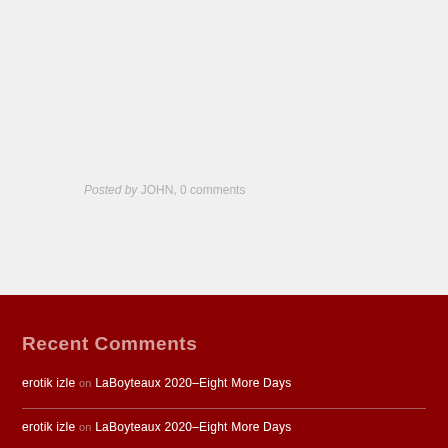Posted by JOHN, 0 comments
Recent Comments
erotik izle on LaBoyteaux 2020–Eight More Days
erotik izle on LaBoyteaux 2020–Eight More Days